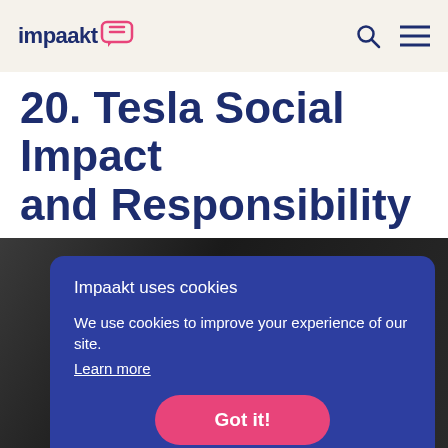impaakt
20. Tesla Social Impact and Responsibility
[Figure (photo): Dark background photo, partially visible, behind cookie consent banner]
Impaakt uses cookies
We use cookies to improve your experience of our site.
Learn more
Got it!